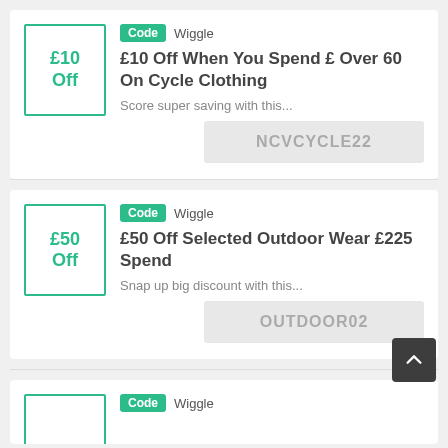[Figure (infographic): Coupon card: £10 Off badge box with teal border, Code tag and Wiggle store name, deal title '£10 Off When You Spend £ Over 60 On Cycle Clothing', description 'Score super saving with this...', coupon code box showing 'NCVCYCLE22']
[Figure (infographic): Coupon card: £50 Off badge box with teal border, Code tag and Wiggle store name, deal title '£50 Off Selected Outdoor Wear £225 Spend', description 'Snap up big discount with this...', coupon code box showing 'OUTDOOR02', back-to-top button in dark gray]
[Figure (infographic): Partial coupon card at bottom: badge box with teal border, Code tag and Wiggle store name (partially visible)]